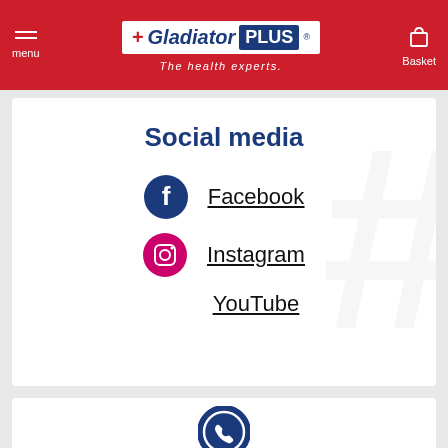Gladiator PLUS – The health experts. menu | Basket
Social media
Facebook
Instagram
YouTube
[Figure (other): Blue phone icon circle for contact section]
Contact / customer service (partially visible)